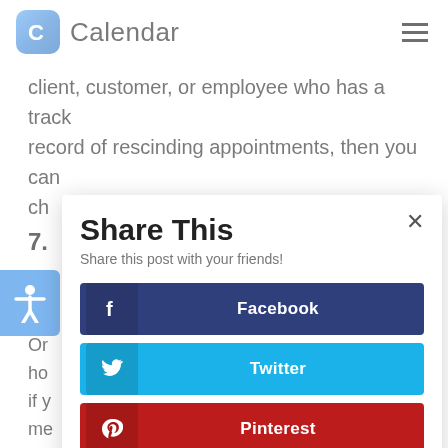Calendar
client, customer, or employee who has a track record of rescinding appointments, then you can ch… n.
7.
Or… ys ho… e, if y… a me…
Thi… e'll as… h.
[Figure (screenshot): Share This modal dialog with social sharing buttons for Facebook, Twitter, Pinterest, and LinkedIn. The modal has a close (×) button, title 'Share This', subtitle 'Share this post with your friends!'. An accessibility icon (person with arms outstretched) appears on the left side of the page behind the modal.]